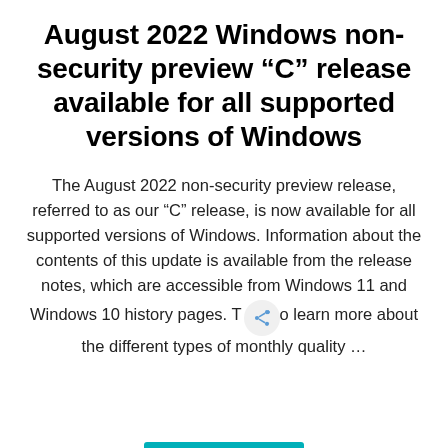August 2022 Windows non-security preview “C” release available for all supported versions of Windows
The August 2022 non-security preview release, referred to as our “C” release, is now available for all supported versions of Windows. Information about the contents of this update is available from the release notes, which are accessible from Windows 11 and Windows 10 history pages. To learn more about the different types of monthly quality …